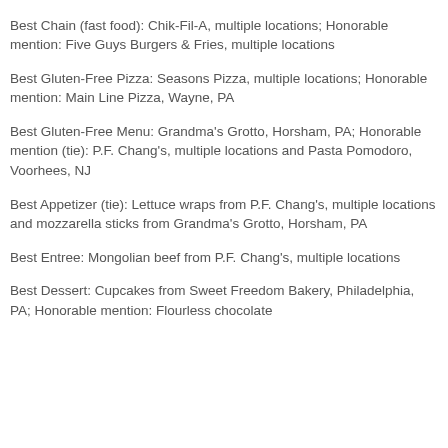Honorable mention: Outback Steakhouse, multiple locations
Best Chain (fast food): Chik-Fil-A, multiple locations; Honorable mention: Five Guys Burgers & Fries, multiple locations
Best Gluten-Free Pizza: Seasons Pizza, multiple locations; Honorable mention: Main Line Pizza, Wayne, PA
Best Gluten-Free Menu: Grandma's Grotto, Horsham, PA; Honorable mention (tie): P.F. Chang's, multiple locations and Pasta Pomodoro, Voorhees, NJ
Best Appetizer (tie): Lettuce wraps from P.F. Chang's, multiple locations and mozzarella sticks from Grandma's Grotto, Horsham, PA
Best Entree: Mongolian beef from P.F. Chang's, multiple locations
Best Dessert: Cupcakes from Sweet Freedom Bakery, Philadelphia, PA; Honorable mention: Flourless chocolate